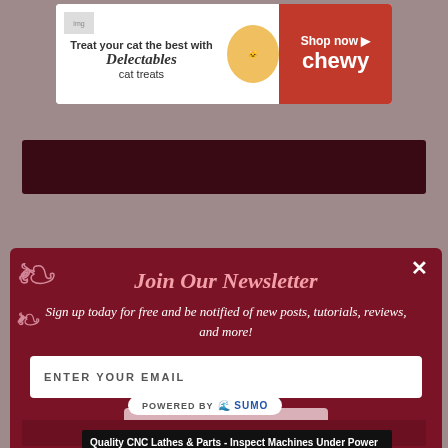[Figure (screenshot): Advertisement banner for Delectables cat treats by Chewy. White left side with text 'Treat your cat the best with Delectables cat treats' and a cat image. Red right side with 'Shop now' and 'chewy' logo.]
[Figure (screenshot): Dark maroon navigation bar]
[Figure (screenshot): Newsletter signup modal overlay with title 'Join Our Newsletter', subtitle text, email input field, Subscribe Now button, No Thanks link, and decorative corner flourishes. Powered by SUMO badge below.]
Join Our Newsletter
Sign up today for free and be notified of new posts, tutorials, reviews, and more!
ENTER YOUR EMAIL
SUBSCRIBENOW
NO THANKS
POWERED BY  SUMO
CLOSE
Quality CNC Lathes & Parts - Inspect Machines Under Power
tramarindustries.com
SPONSORED